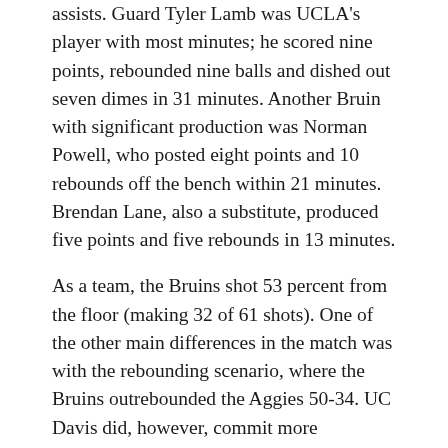assists. Guard Tyler Lamb was UCLA's player with most minutes; he scored nine points, rebounded nine balls and dished out seven dimes in 31 minutes. Another Bruin with significant production was Norman Powell, who posted eight points and 10 rebounds off the bench within 21 minutes. Brendan Lane, also a substitute, produced five points and five rebounds in 13 minutes.
As a team, the Bruins shot 53 percent from the floor (making 32 of 61 shots). One of the other main differences in the match was with the rebounding scenario, where the Bruins outrebounded the Aggies 50-34. UC Davis did, however, commit more turnovers than UCLA at 15-10.
“We also did a better job on the boards with 50 total rebounds, especially Powell, who got 10,” Howland adds. “Tyler Lamb had a great game for us also and added strong defense. Anthony Stover’s five blocks really energized us, and we’ll find a way to get him more minutes.”
This game was really no contest for the hosts, who led 43-15 at halftime. The Bruins outshot the Aggies only 13 shots...